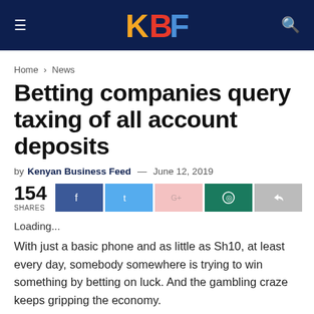KBF
Home > News
Betting companies query taxing of all account deposits
by Kenyan Business Feed — June 12, 2019
154 SHARES
Loading...
With just a basic phone and as little as Sh10, at least every day, somebody somewhere is trying to win something by betting on luck. And the gambling craze keeps gripping the economy.